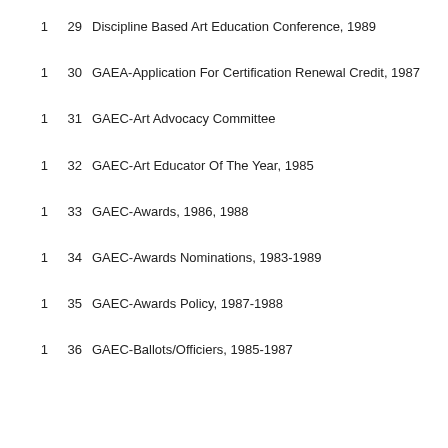1   29   Discipline Based Art Education Conference, 1989
1   30   GAEA-Application For Certification Renewal Credit, 1987
1   31   GAEC-Art Advocacy Committee
1   32   GAEC-Art Educator Of The Year, 1985
1   33   GAEC-Awards, 1986, 1988
1   34   GAEC-Awards Nominations, 1983-1989
1   35   GAEC-Awards Policy, 1987-1988
1   36   GAEC-Ballots/Officiers, 1985-1987